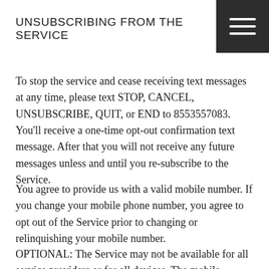UNSUBSCRIBING FROM THE SERVICE
[Figure (other): Dark grey square with three horizontal white lines (hamburger menu icon) in the top-right corner]
To stop the service and cease receiving text messages at any time, please text STOP, CANCEL, UNSUBSCRIBE, QUIT, or END to 8553557083. You'll receive a one-time opt-out confirmation text message. After that you will not receive any future messages unless and until you re-subscribe to the Service.
You agree to provide us with a valid mobile number. If you change your mobile phone number, you agree to opt out of the Service prior to changing or relinquishing your mobile number.
OPTIONAL: The Service may not be available for all service providers or for all devices. The mobile operators participating in the Service include, but are not limited to